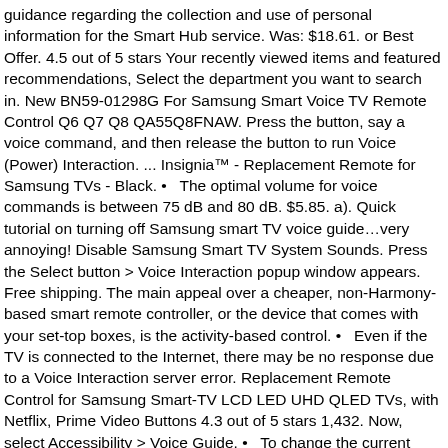guidance regarding the collection and use of personal information for the Smart Hub service. Was: $18.61. or Best Offer. 4.5 out of 5 stars Your recently viewed items and featured recommendations, Select the department you want to search in. New BN59-01298G For Samsung Smart Voice TV Remote Control Q6 Q7 Q8 QA55Q8FNAW. Press the button, say a voice command, and then release the button to run Voice (Power) Interaction. ... Insignia™ - Replacement Remote for Samsung TVs - Black. •   The optimal volume for voice commands is between 75 dB and 80 dB. $5.85. a). Quick tutorial on turning off Samsung smart TV voice guide…very annoying! Disable Samsung Smart TV System Sounds. Press the Select button > Voice Interaction popup window appears. Free shipping. The main appeal over a cheaper, non-Harmony-based smart remote controller, or the device that comes with your set-top boxes, is the activity-based control. •   Even if the TV is connected to the Internet, there may be no response due to a Voice Interaction server error. Replacement Remote Control for Samsung Smart-TV LCD LED UHD QLED TVs, with Netflix, Prime Video Buttons 4.3 out of 5 stars 1,432. Now, select Accessibility > Voice Guide. •   To change the current channel by saying channel names as voice commands, you must finish Set Up Your Service Provider. Battery-powered Battery powered. Samsung LED 4K Smart TV UHD...